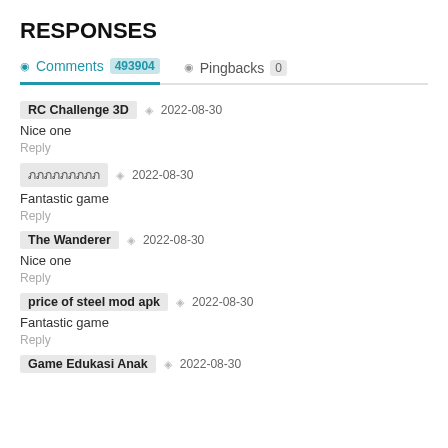RESPONSES
Comments 493904   Pingbacks 0
RC Challenge 3D   2022-08-30
Nice one
Reply
ภภภภภภภภภ   2022-08-30
Fantastic game
Reply
The Wanderer   2022-08-30
Nice one
Reply
price of steel mod apk   2022-08-30
Fantastic game
Reply
Game Edukasi Anak   2022-08-30